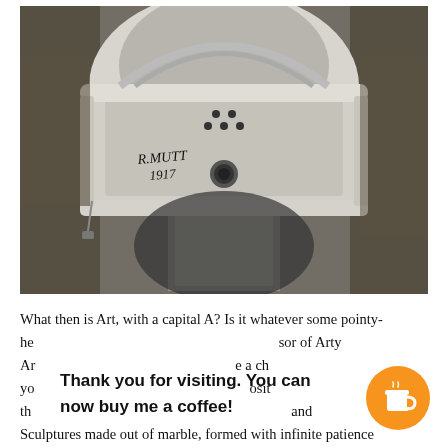[Figure (photo): Black and white photograph of Marcel Duchamp's Fountain (1917) — an upturned porcelain urinal signed 'R.MUTT 1917', photographed by Alfred Stieglitz.]
What then is Art, with a capital A? Is it whatever some pointy-headed professor of Arty Art makes a choice to call art? You can deposit your own opinion on that, and then...
Thank you for visiting. You can now buy me a coffee!
Sculptures made out of marble, formed with infinite patience